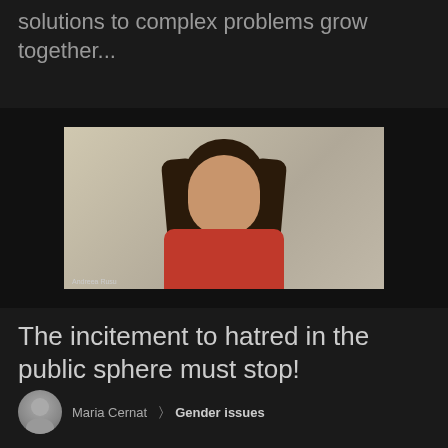solutions to complex problems grow together...
[Figure (screenshot): Video call screenshot showing a woman with long dark hair wearing a red top, smiling. A red circle overlay appears on her lower face/chin area. A name label 'Andreea Rusu' is visible at the bottom left of the video frame.]
The incitement to hatred in the public sphere must stop!
Maria Cernat  >>  Gender issues